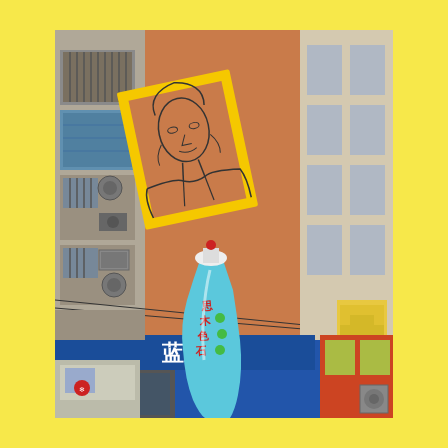[Figure (photo): Urban street scene in China showing a terracotta-orange multi-story apartment building on the left with balconies, window AC units, and security bars. On the building's flat side wall is a large line-art mural of the Mona Lisa inside a tilted bright yellow picture frame. In the foreground is a large blue decorative bottle/sculpture with red Chinese characters. At street level there is a shop with a blue awning showing Chinese text including '蓝森林'. Background buildings visible on the right. Yellow border surrounds the photo.]